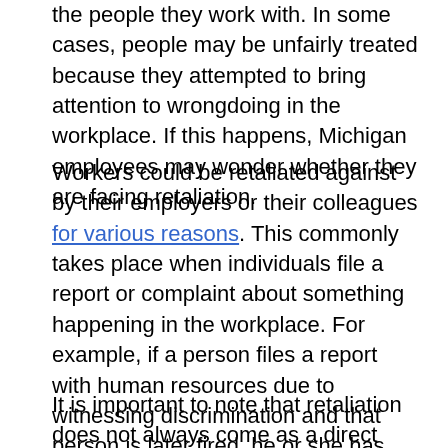the people they work with. In some cases, people may be unfairly treated because they attempted to bring attention to wrongdoing in the workplace. If this happens, Michigan employees may wonder whether they are facing retaliation.
Workers could be retaliated against by their employers or their colleagues for various reasons. This commonly takes place when individuals file a report or complaint about something happening in the workplace. For example, if a person files a report with human resources due to witnessing discrimination and that person is later fired, he or she has likely been the victim of retaliation. It can also happen if a worker points out that he or she has not received proper compensation, such as overtime pay.
It is important to note that retaliation does not always come as a direct termination from a job. Some other acts of retaliation may include demotion...